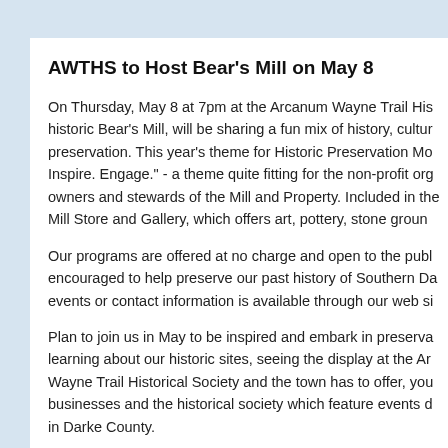AWTHS to Host Bear's Mill on May 8
On Thursday, May 8 at 7pm at the Arcanum Wayne Trail His... historic Bear's Mill, will be sharing a fun mix of history, cultur... preservation. This year's theme for Historic Preservation Mo... Inspire. Engage." - a theme quite fitting for the non-profit org... owners and stewards of the Mill and Property. Included in th... Mill Store and Gallery, which offers art, pottery, stone groun...
Our programs are offered at no charge and open to the pub... encouraged to help preserve our past history of Southern Da... events or contact information is available through our web si...
Plan to join us in May to be inspired and embark in preserva... learning about our historic sites, seeing the display at the Ar... Wayne Trail Historical Society and the town has to offer, you... businesses and the historical society which feature events d... in Darke County.